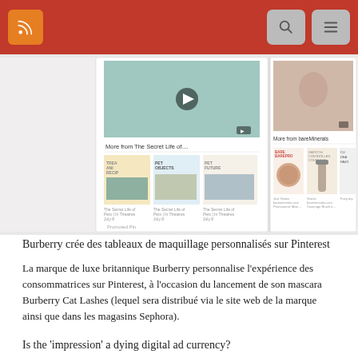RSS feed navigation bar with search and menu buttons
[Figure (screenshot): Screenshot of a mobile webpage showing two panels: left panel shows 'More from The Secret Life of...' with video thumbnail and related content links; right panel shows 'More from bareMinerals' with product images including makeup/foundation items and 'SMOOTH CONTROLLED COVERAGE' text. 'Promoted Pin' label visible at bottom left.]
Burberry crée des tableaux de maquillage personnalisés sur Pinterest
La marque de luxe britannique Burberry personnalise l'expérience des consommatrices sur Pinterest, à l'occasion du lancement de son mascara Burberry Cat Lashes (lequel sera distribué via le site web de la marque ainsi que dans les magasins Sephora).
Is the 'impression' a dying digital ad currency?
These sorts of figures have rightfully made many marketers nervous. To